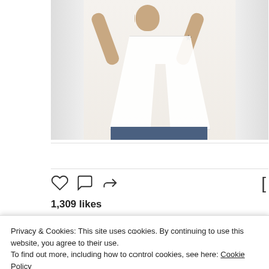[Figure (photo): Instagram embed showing a man in an open white shirt with arms raised above his head, revealing a star tattoo on his upper arm, standing in front of white doors]
View more on Instagram
1,309 likes
Privacy & Cookies: This site uses cookies. By continuing to use this website, you agree to their use.
To find out more, including how to control cookies, see here: Cookie Policy
Close and accept